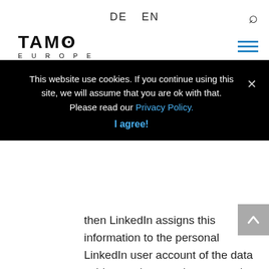DE  EN
[Figure (logo): TAMO EUROPE logo in bold black text]
This website use cookies. If you continue using this site, we will assume that you are ok with that. Please read our Privacy Policy.
I agree!
then LinkedIn assigns this information to the personal LinkedIn user account of the data subject and stores the personal data.
LinkedIn receives information via the LinkedIn component that the data subject has visited our website, provided that the data subject is logged in at LinkedIn at the time of the call-up to our website. This